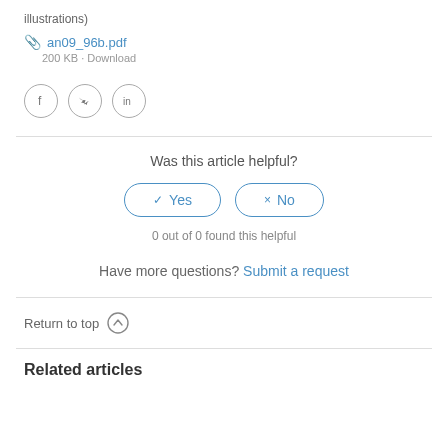(see attached pdf file for the complete article with illustrations)
an09_96b.pdf
200 KB · Download
[Figure (illustration): Social media share icons: Facebook, Twitter, LinkedIn in circular borders]
Was this article helpful?
✓ Yes  × No  — 0 out of 0 found this helpful
Have more questions? Submit a request
Return to top ↑
Related articles